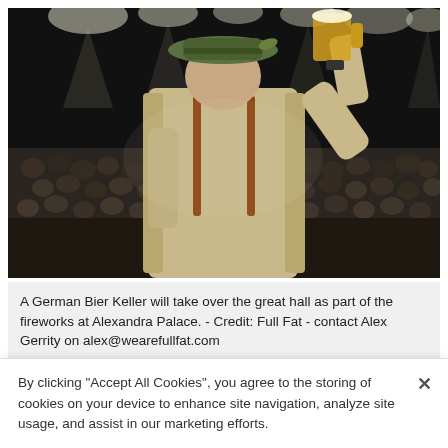[Figure (photo): A man in a green hat and traditional German clothing seen from behind, raising a large beer mug (Masskrug) to a large crowd in a dark venue with stage lights overhead.]
A German Bier Keller will take over the great hall as part of the fireworks at Alexandra Palace. - Credit: Full Fat - contact Alex Gerrity on alex@wearefullfat.com
No-one does fireworks quite like Ally Pally and this
By clicking "Accept All Cookies", you agree to the storing of cookies on your device to enhance site navigation, analyze site usage, and assist in our marketing efforts.